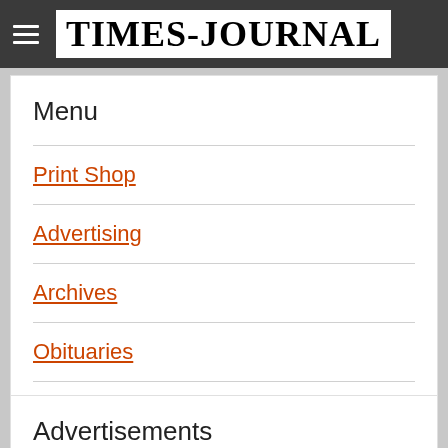Times-Journal
Menu
Print Shop
Advertising
Archives
Obituaries
Contact Us
Advertisements